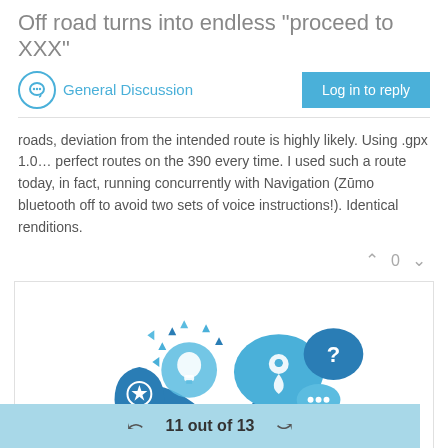Off road turns into endless "proceed to XXX"
General Discussion
roads, deviation from the intended route is highly likely. Using .gpx 1.0… perfect routes on the 390 every time. I used such a route today, in fact, running concurrently with Navigation (Zūmo bluetooth off to avoid two sets of voice instructions!). Identical renditions.
[Figure (illustration): Blue illustrated figure of a person with arms raised, surrounded by speech bubbles with icons including a map pin, question mark, ellipsis, and a lightbulb with sparkles. Shield with star on left arm.]
11 out of 13